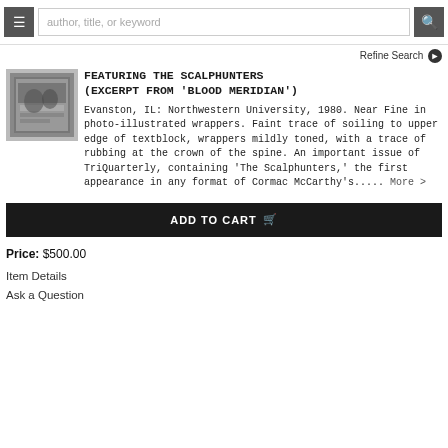author, title, or keyword
Refine Search
FEATURING THE SCALPHUNTERS (EXCERPT FROM 'BLOOD MERIDIAN')
Evanston, IL: Northwestern University, 1980. Near Fine in photo-illustrated wrappers. Faint trace of soiling to upper edge of textblock, wrappers mildly toned, with a trace of rubbing at the crown of the spine. An important issue of TriQuarterly, containing 'The Scalphunters,' the first appearance in any format of Cormac McCarthy's..... More >
ADD TO CART
Price: $500.00
Item Details
Ask a Question